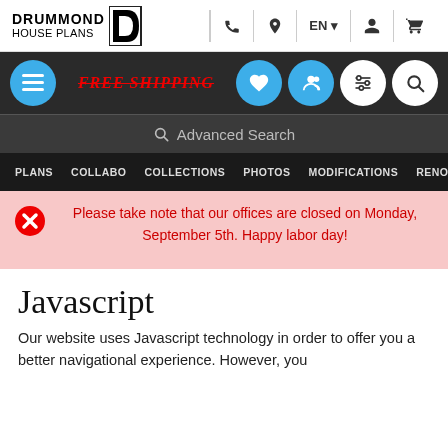[Figure (logo): Drummond House Plans logo with stylized D lettermark]
FREE SHIPPING | Advanced Search | PLANS | COLLABO | COLLECTIONS | PHOTOS | MODIFICATIONS | RENO
Please take note that our offices are closed on Monday, September 5th. Happy labor day!
Javascript
Our website uses Javascript technology in order to offer you a better navigational experience. However, you